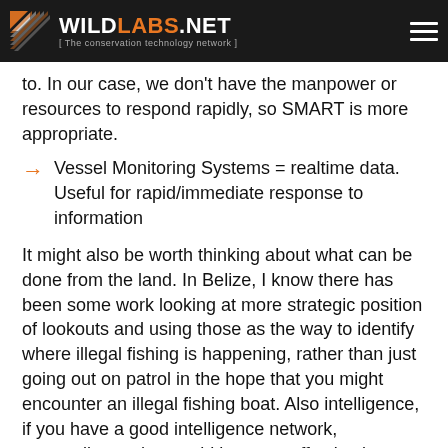WILDLABS.NET [ The conservation technology network ]
to. In our case, we don't have the manpower or resources to respond rapidly, so SMART is more appropriate.
Vessel Monitoring Systems = realtime data. Useful for rapid/immediate response to information
It might also be worth thinking about what can be done from the land. In Belize, I know there has been some work looking at more strategic position of lookouts and using those as the way to identify where illegal fishing is happening, rather than just going out on patrol in the hope that you might encounter an illegal fishing boat. Also intelligence, if you have a good intelligence network, responding to that could be more effective in some ways and getting your patrol team to respond to intelligence and being more targeted in your activity.
What can be done from land? (e.g. Lookouts